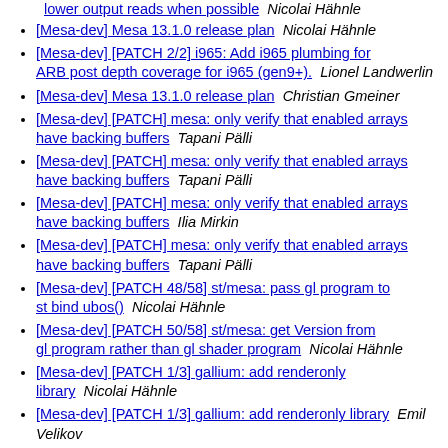lower output reads when possible  Nicolai Hähnle
[Mesa-dev] Mesa 13.1.0 release plan  Nicolai Hähnle
[Mesa-dev] [PATCH 2/2] i965: Add i965 plumbing for ARB_post_depth_coverage for i965 (gen9+).  Lionel Landwerlin
[Mesa-dev] Mesa 13.1.0 release plan  Christian Gmeiner
[Mesa-dev] [PATCH] mesa: only verify that enabled arrays have backing buffers  Tapani Pälli
[Mesa-dev] [PATCH] mesa: only verify that enabled arrays have backing buffers  Tapani Pälli
[Mesa-dev] [PATCH] mesa: only verify that enabled arrays have backing buffers  Ilia Mirkin
[Mesa-dev] [PATCH] mesa: only verify that enabled arrays have backing buffers  Tapani Pälli
[Mesa-dev] [PATCH 48/58] st/mesa: pass gl_program to st_bind_ubos()  Nicolai Hähnle
[Mesa-dev] [PATCH 50/58] st/mesa: get Version from gl_program rather than gl_shader_program  Nicolai Hähnle
[Mesa-dev] [PATCH 1/3] gallium: add renderonly library  Nicolai Hähnle
[Mesa-dev] [PATCH 1/3] gallium: add renderonly library  Emil Velikov
[Mesa-dev] [PATCH 3/3] imx: gallium driver for imx-drm scanout driver  Emil Velikov
[Mesa-dev] [PATCH 0/3] gallium driver for Vivante GPUs